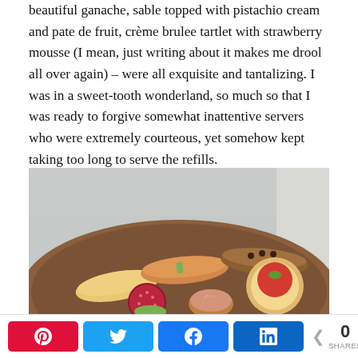beautiful ganache, sable topped with pistachio cream and pate de fruit, crème brulee tartlet with strawberry mousse (I mean, just writing about it makes me drool all over again) – were all exquisite and tantalizing. I was in a sweet-tooth wonderland, so much so that I was ready to forgive somewhat inattentive servers who were extremely courteous, yet somehow kept taking too long to serve the refills.
[Figure (photo): A brown round plate with assorted elegant French pastries and petit fours including eclairs, a tartlet with red berry topping and green pistachio, a pate de fruit sugar-coated candy, and a cream-filled pastry, photographed from above on a light background.]
A 0 SHARES — social share buttons: Pinterest, Twitter, Facebook, LinkedIn